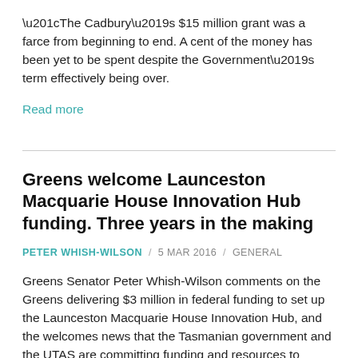“The Cadbury’s $15 million grant was a farce from beginning to end. A cent of the money has been yet to be spent despite the Government’s term effectively being over.
Read more
Greens welcome Launceston Macquarie House Innovation Hub funding. Three years in the making
PETER WHISH-WILSON / 5 MAR 2016 / GENERAL
Greens Senator Peter Whish-Wilson comments on the Greens delivering $3 million in federal funding to set up the Launceston Macquarie House Innovation Hub, and the welcomes news that the Tasmanian government and the UTAS are committing funding and resources to operating innovation hubs in Tasmania.